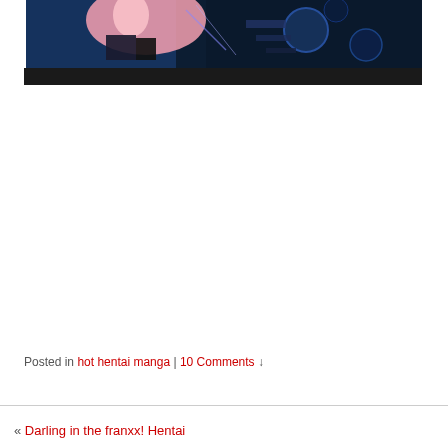[Figure (illustration): Anime/hentai style illustration with blue and dark tones, showing a character with pink elements against a blue mechanical background]
Posted in hot hentai manga | 10 Comments
« Darling in the franxx! Hentai